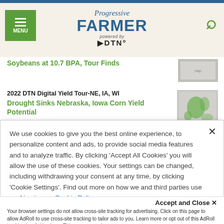Progressive FARMER powered by DTN
Soybeans at 10.7 BPA, Tour Finds
2022 DTN Digital Yield Tour-NE, IA, WI
Drought Sinks Nebraska, Iowa Corn Yield Potential
2022 DTN Digital Yield Tour -- IL IN OH
We use cookies to give you the best online experience, to personalize content and ads, to provide social media features and to analyze traffic. By clicking 'Accept All Cookies' you will allow the use of these cookies. Your settings can be changed, including withdrawing your consent at any time, by clicking 'Cookie Settings'. Find out more on how we and third parties use cookies in our Cookie Policy
Accept and Close ×
Your browser settings do not allow cross-site tracking for advertising. Click on this page to allow AdRoll to use cross-site tracking to tailor ads to you. Learn more or opt out of this AdRoll tracking by clicking here. This message only appears once.